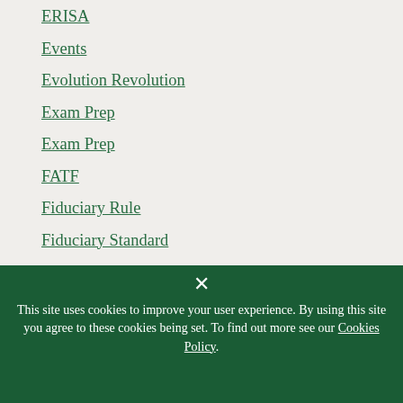ERISA
Events
Evolution Revolution
Exam Prep
Exam Prep
FATF
Fiduciary Rule
Fiduciary Standard
This site uses cookies to improve your user experience. By using this site you agree to these cookies being set. To find out more see our Cookies Policy.